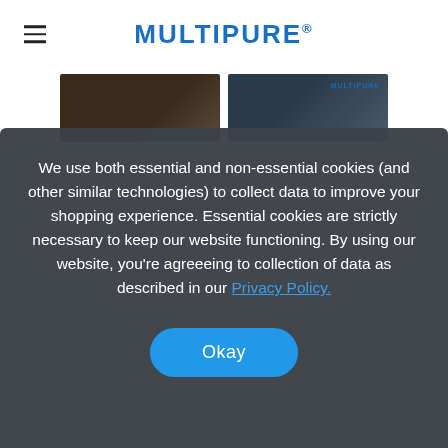MULTIPURE®
[Figure (photo): Two image thumbnails side by side showing darkened promotional photos for Multipure]
We use both essential and non-essential cookies (and other similar technologies) to collect data to improve your shopping experience. Essential cookies are strictly necessary to keep our website functioning. By using our website, you're agreeeing to collection of data as described in our Privacy Policy.